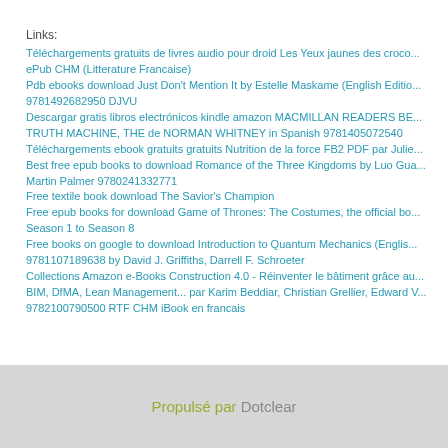Links:
Téléchargements gratuits de livres audio pour droid Les Yeux jaunes des crocodiles ePub CHM (Litterature Francaise)
Pdb ebooks download Just Don't Mention It by Estelle Maskame (English Edition) 9781492682950 DJVU
Descargar gratis libros electrónicos kindle amazon MACMILLAN READERS BEGINNER TRUTH MACHINE, THE de NORMAN WHITNEY in Spanish 9781405072540
Téléchargements ebook gratuits gratuits Nutrition de la force FB2 PDF par Julie
Best free epub books to download Romance of the Three Kingdoms by Luo Guanzhong, Martin Palmer 9780241332771
Free textile book download The Savior's Champion
Free epub books for download Game of Thrones: The Costumes, the official book from Season 1 to Season 8
Free books on google to download Introduction to Quantum Mechanics (English) 9781107189638 by David J. Griffiths, Darrell F. Schroeter
Collections Amazon e-Books Construction 4.0 - Réinventer le bâtiment grâce au BIM, DfMA, Lean Management... par Karim Beddiar, Christian Grellier, Edward V 9782100790500 RTF CHM iBook en francais
Propulsé par Dotclear